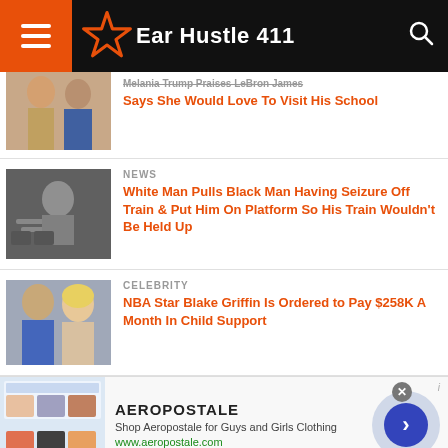Ear Hustle 411
Melania Trump Praises LeBron James Says She Would Love To Visit His School
NEWS
White Man Pulls Black Man Having Seizure Off Train & Put Him On Platform So His Train Wouldn't Be Held Up
CELEBRITY
NBA Star Blake Griffin Is Ordered to Pay $258K A Month In Child Support
[Figure (advertisement): Aeropostale advertisement banner with brand name, description 'Shop Aeropostale for Guys and Girls Clothing', url www.aeropostale.com, product images, and navigation arrow]